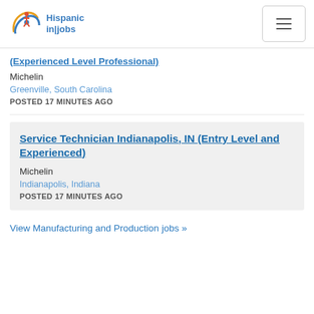[Figure (logo): Hispanic in|jobs logo with circular figure graphic and blue text]
(Experienced Level Professional)
Michelin
Greenville, South Carolina
POSTED 17 MINUTES AGO
Service Technician Indianapolis, IN (Entry Level and Experienced)
Michelin
Indianapolis, Indiana
POSTED 17 MINUTES AGO
View Manufacturing and Production jobs »